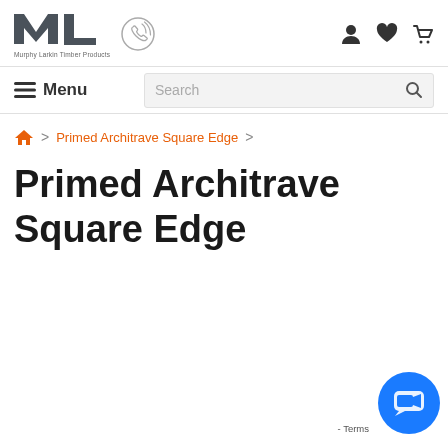[Figure (logo): Murphy Larkin Timber Products logo — stylized ML letters in dark grey with company name below]
Murphy Larkin Timber Products — navigation header with phone icon, user, wishlist, and cart icons, menu button, and search bar
Home > Primed Architrave Square Edge >
Primed Architrave Square Edge